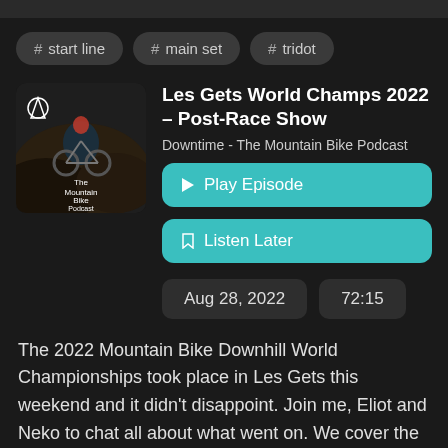# start line
# main set
# tridot
Les Gets World Champs 2022 – Post-Race Show
Downtime - The Mountain Bike Podcast
▶ Play Episode
🔖 Listen Later
Aug 28, 2022
72:15
[Figure (photo): Podcast artwork showing a mountain biker descending a trail at night with text 'The Mountain Bike Podcast']
The 2022 Mountain Bike Downhill World Championships took place in Les Gets this weekend and it didn't disappoint. Join me, Eliot and Neko to chat all about what went on. We cover the track, the